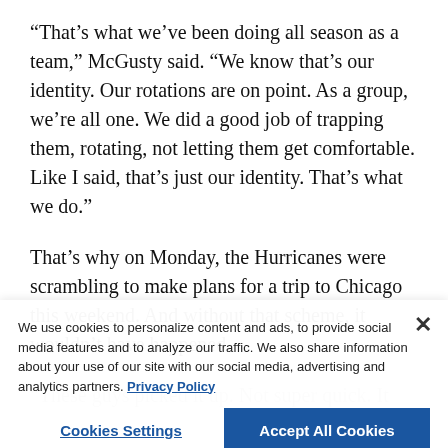“That’s what we’ve been doing all season as a team,” McGusty said. “We know that’s our identity. Our rotations are on point. As a group, we’re all one. We did a good job of trapping them, rotating, not letting them get comfortable. Like I said, that’s just our identity. That’s what we do.”
That’s why on Monday, the Hurricanes were scrambling to make plans for a trip to Chicago this weekend. And without that scheme, it wouldn’t have happened.
“These guys picked it up. Not super quick. It took us a while. Sometime in December we started to realize, ‘Oh, we’re getting good at it.’ We need to do more. Because initially we were only doing it about 10% of the time. When we started to have a little more success, we did it 20% of the time. Now we’re doing it all the time.”
We use cookies to personalize content and ads, to provide social media features and to analyze our traffic. We also share information about your use of our site with our social media, advertising and analytics partners. Privacy Policy
Cookies Settings | Accept All Cookies